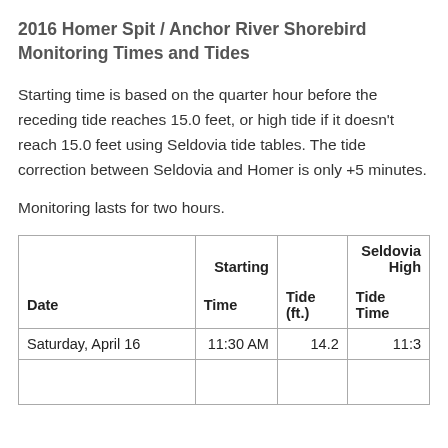2016 Homer Spit / Anchor River Shorebird Monitoring Times and Tides
Starting time is based on the quarter hour before the receding tide reaches 15.0 feet, or high tide if it doesn't reach 15.0 feet using Seldovia tide tables. The tide correction between Seldovia and Homer is only +5 minutes.
Monitoring lasts for two hours.
|  | Starting |  | Seldovia High |
| --- | --- | --- | --- |
| Saturday, April 16 | 11:30 AM | 14.2 | 11:3 |